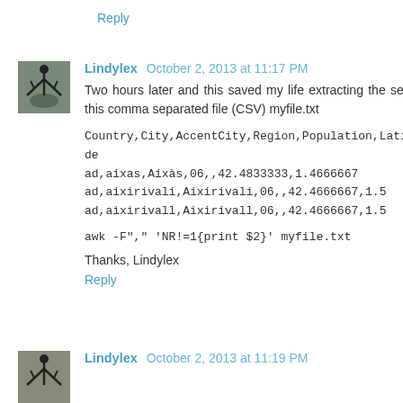Reply
Lindylex  October 2, 2013 at 11:17 PM
Two hours later and this saved my life extracting the second column of this comma separated file (CSV) myfile.txt
Country,City,AccentCity,Region,Population,Latitude,Longitude
ad,aixas,Aixàs,06,,42.4833333,1.4666667
ad,aixirivali,Aixirivali,06,,42.4666667,1.5
ad,aixirivall,Aixirivall,06,,42.4666667,1.5
awk -F"," 'NR!=1{print $2}' myfile.txt
Thanks, Lindylex
Reply
Lindylex  October 2, 2013 at 11:19 PM